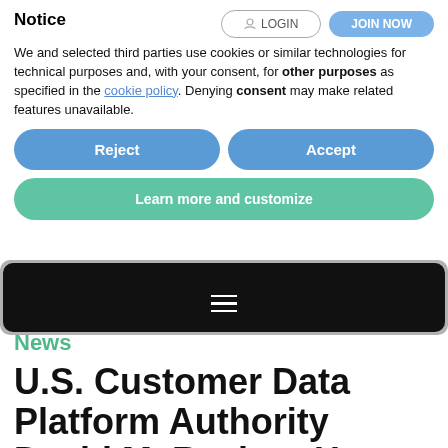Notice
We and selected third parties use cookies or similar technologies for technical purposes and, with your consent, for other purposes as specified in the cookie policy. Denying consent may make related features unavailable.
Reject
Accept
Learn more and customize
News
U.S. Customer Data Platform Authority David M. Raab to Host First CDP